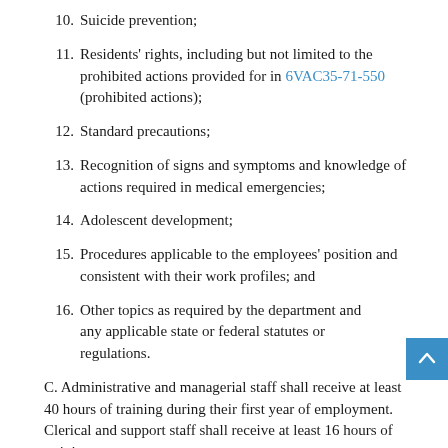10. Suicide prevention;
11. Residents' rights, including but not limited to the prohibited actions provided for in 6VAC35-71-550 (prohibited actions);
12. Standard precautions;
13. Recognition of signs and symptoms and knowledge of actions required in medical emergencies;
14. Adolescent development;
15. Procedures applicable to the employees' position and consistent with their work profiles; and
16. Other topics as required by the department and any applicable state or federal statutes or regulations.
C. Administrative and managerial staff shall receive at least 40 hours of training during their first year of employment. Clerical and support staff shall receive at least 16 hours of training.